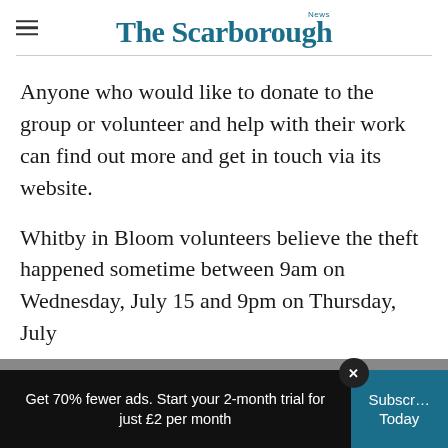The Scarborough News
Anyone who would like to donate to the group or volunteer and help with their work can find out more and get in touch via its website.
Whitby in Bloom volunteers believe the theft happened sometime between 9am on Wednesday, July 15 and 9pm on Thursday, July 16.
Get 70% fewer ads. Start your 2-month trial for just £2 per month | Subscribe Today